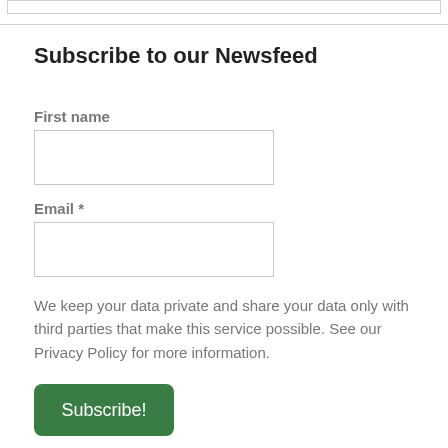Subscribe to our Newsfeed
First name
Email *
We keep your data private and share your data only with third parties that make this service possible. See our Privacy Policy for more information.
Subscribe!